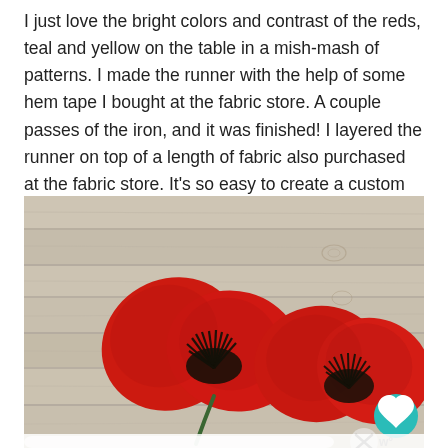I just love the bright colors and contrast of the reds, teal and yellow on the table in a mish-mash of patterns. I made the runner with the help of some hem tape I bought at the fabric store. A couple passes of the iron, and it was finished! I layered the runner on top of a length of fabric also purchased at the fabric store. It's so easy to create a custom look this way.
[Figure (photo): Two red poppy flowers with black stamens lying on a light grey wood plank surface. A teal heart/favorite button icon is visible in the bottom right of the photo, and a partial close/X button and a logo are visible at the very bottom.]